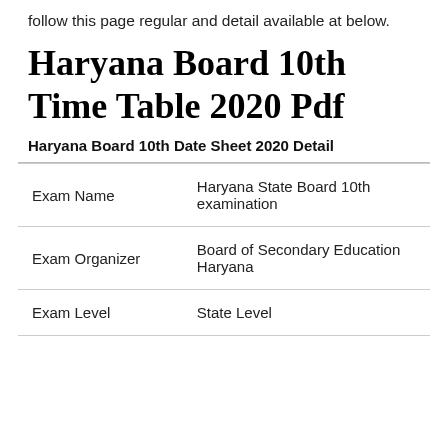follow this page regular and detail available at below.
Haryana Board 10th Time Table 2020 Pdf
Haryana Board 10th Date Sheet 2020 Detail
| Exam Name | Haryana State Board 10th examination |
| Exam Organizer | Board of Secondary Education Haryana |
| Exam Level | State Level |